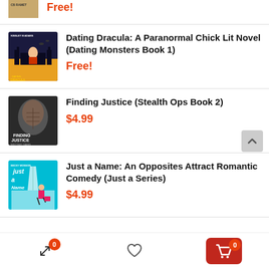[Figure (illustration): Partial book cover at top of page, cut off]
Free!
[Figure (illustration): Dating Dracula book cover - paranormal chick lit with cartoon woman and castle]
Dating Dracula: A Paranormal Chick Lit Novel (Dating Monsters Book 1)
Free!
[Figure (illustration): Finding Justice book cover - Stealth Ops Book 2, muscular man]
Finding Justice (Stealth Ops Book 2)
$4.99
[Figure (illustration): Just a Name book cover - opposites attract romantic comedy with woman walking]
Just a Name: An Opposites Attract Romantic Comedy (Just a Series)
$4.99
Navigation bar with compare icon (badge 0), heart/wishlist icon, and cart button (badge 0)